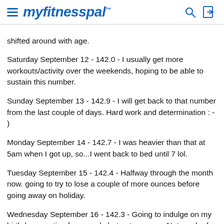myfitnesspal
shifted around with age.
Saturday September 12 - 142.0 - I usually get more workouts/activity over the weekends, hoping to be able to sustain this number.
Sunday September 13 - 142.9 - I will get back to that number from the last couple of days. Hard work and determination : - )
Monday September 14 - 142.7 - I was heavier than that at 5am when I got up, so...I went back to bed until 7 lol.
Tuesday September 15 - 142.4 - Halfway through the month now. going to try to lose a couple of more ounces before going away on holiday.
Wednesday September 16 - 142.3 - Going to indulge on my birthday vacation for a week, but not go crazy. Not much of a cushion, hope to bring it down another ounce before leaving